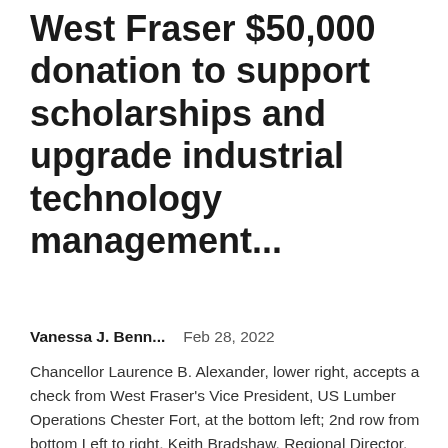West Fraser $50,000 donation to support scholarships and upgrade industrial technology management...
Vanessa J. Benn...    Feb 28, 2022
Chancellor Laurence B. Alexander, lower right, accepts a check from West Fraser's Vice President, US Lumber Operations Chester Fort, at the bottom left; 2nd row from bottom Left to right, Keith Bradshaw, Regional Director, Operations,...
[Figure (photo): A light gray placeholder image rectangle]